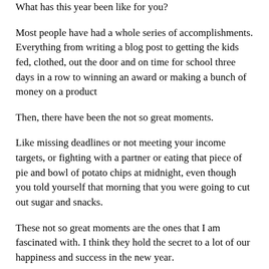What has this year been like for you?
Most people have had a whole series of accomplishments. Everything from writing a blog post to getting the kids fed, clothed, out the door and on time for school three days in a row to winning an award or making a bunch of money on a product launch.
Then, there have been the not so great moments.
Like missing deadlines or not meeting your income targets, or fighting with a partner or eating that piece of pie and bowl of potato chips at midnight, even though you told yourself that morning that you were going to cut out sugar and snacks.
These not so great moments are the ones that I am fascinated with. I think they hold the secret to a lot of our happiness and success in the new year.
Diagnosing Fear and Shame
I often tell people who interview me about my book that I have become somewhat of an expert on fear, since it is the main topic of conversation with many clients who are working on starting a business. The way to work with the fear is to dig underneath it for a truth that is buried in a feeling of panic or dread.
I think our failures and shameful moments hold the same hidden wisdom.